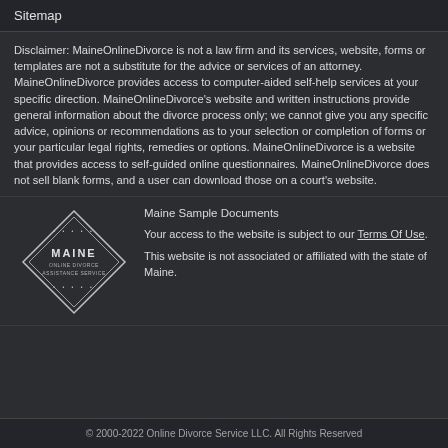Sitemap
Disclaimer: MaineOnlineDivorce is not a law firm and its services, website, forms or templates are not a substitute for the advice or services of an attorney. MaineOnlineDivorce provides access to computer-aided self-help services at your specific direction. MaineOnlineDivorce's website and written instructions provide general information about the divorce process only; we cannot give you any specific advice, opinions or recommendations as to your selection or completion of forms or your particular legal rights, remedies or options. MaineOnlineDivorce is a website that provides access to self-guided online questionnaires. MaineOnlineDivorce does not sell blank forms, and a user can download those on a court's website.
[Figure (logo): Maine Online Divorce Assistance Service diamond-shaped logo]
Maine Sample Documents
Your access to the website is subject to our Terms Of Use.
This website is not associated or affiliated with the state of Maine.
© 2000-2022 Online Divorce Service LLC. All Rights Reserved